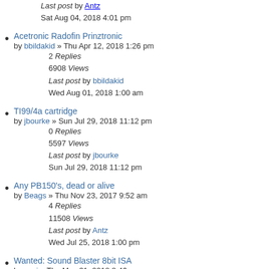Last post by Antz
Sat Aug 04, 2018 4:01 pm
Acetronic Radofin Prinztronic
by bbildakid » Thu Apr 12, 2018 1:26 pm
2 Replies
6908 Views
Last post by bbildakid
Wed Aug 01, 2018 1:00 am
TI99/4a cartridge
by jbourke » Sun Jul 29, 2018 11:12 pm
0 Replies
5597 Views
Last post by jbourke
Sun Jul 29, 2018 11:12 pm
Any PB150's, dead or alive
by Beags » Thu Nov 23, 2017 9:52 am
4 Replies
11508 Views
Last post by Antz
Wed Jul 25, 2018 1:00 pm
Wanted: Sound Blaster 8bit ISA
by acsi » Thu May 31, 2018 8:46 pm
1 Replies
5584 Views
Last post by Mark0x01
Wed Jun 06, 2018 9:16 pm